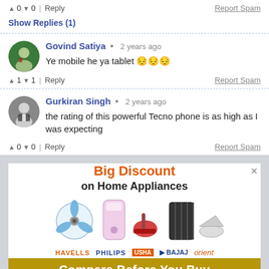▲ 0 ▼ 0 | Reply   Report Spam
Show Replies (1)
Govind Satiya • 2 years ago
Ye mobile he ya tablet 😔😔😔
▲ 1 ▼ 1 | Reply   Report Spam
Gurkiran Singh • 2 years ago
the rating of this powerful Tecno phone is as high as I was expecting
▲ 0 ▼ 0 | Reply   Report Spam
[Figure (infographic): Advertisement for home appliances showing Big Discount on Home Appliances with images of fan, water purifier, vacuum cleaner, oil heater, iron. Brands: HAVELLS, PHILIPS, USHA, BAJAJ, orient. Bottom bar: Compare Before You Buy]